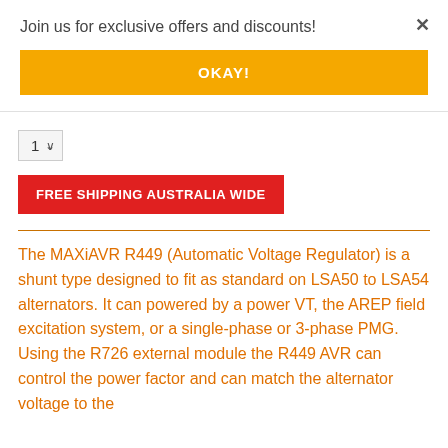Join us for exclusive offers and discounts!
OKAY!
1
FREE SHIPPING AUSTRALIA WIDE
The MAXiAVR R449 (Automatic Voltage Regulator) is a shunt type designed to fit as standard on LSA50 to LSA54 alternators. It can powered by a power VT, the AREP field excitation system, or a single-phase or 3-phase PMG. Using the R726 external module the R449 AVR can control the power factor and can match the alternator voltage to the